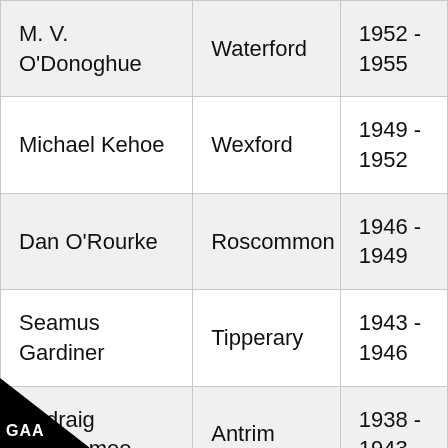| M. V. O'Donoghue | Waterford | 1952 - 1955 |
| Michael Kehoe | Wexford | 1949 - 1952 |
| Dan O'Rourke | Roscommon | 1946 - 1949 |
| Seamus Gardiner | Tipperary | 1943 - 1946 |
| Padraig MacNamee | Antrim | 1938 - 1943 |
| Robert O'Keeffe | Laois | 1935 - 1938 |